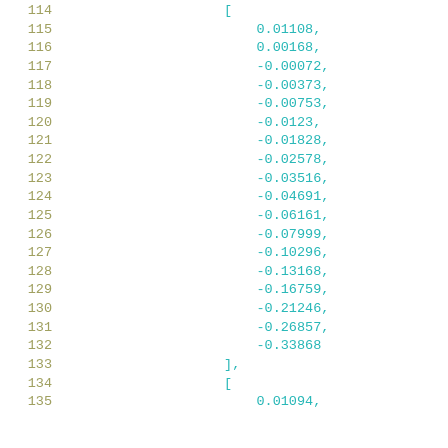114    [
115        0.01108,
116        0.00168,
117        -0.00072,
118        -0.00373,
119        -0.00753,
120        -0.0123,
121        -0.01828,
122        -0.02578,
123        -0.03516,
124        -0.04691,
125        -0.06161,
126        -0.07999,
127        -0.10296,
128        -0.13168,
129        -0.16759,
130        -0.21246,
131        -0.26857,
132        -0.33868
133    ],
134    [
135        0.01094,